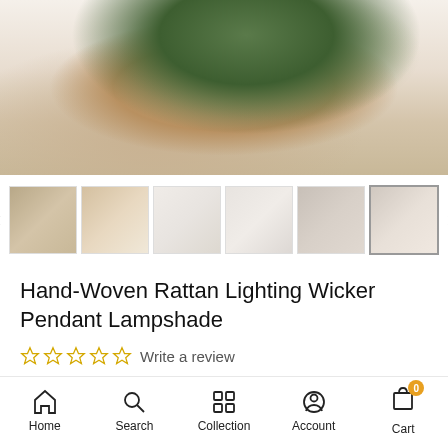[Figure (photo): Main product image showing a styled room with a wooden chair, wicker basket with green plants, white flowers in a glass vase, and white curtains]
[Figure (photo): Thumbnail image carousel showing 6 product photos of wicker pendant lampshades with left and right navigation arrows]
Hand-Woven Rattan Lighting Wicker Pendant Lampshade
☆ ☆ ☆ ☆ ☆  Write a review
$185.99
Home  Search  Collection  Account  Cart 0